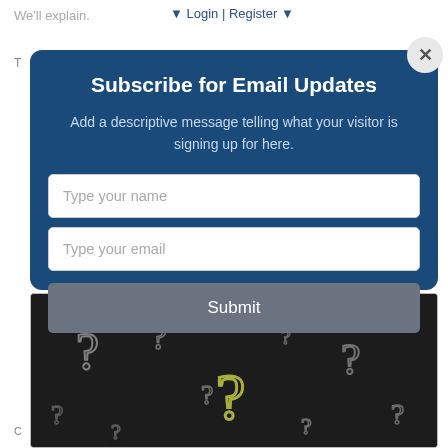We'll explain.   Login | Register
Subscribe for Email Updates
Add a descriptive message telling what your visitor is signing up for here.
Type your name
Type your email
Submit
[Figure (photo): Chalkboard with multiple question marks drawn in chalk, including a highlighted yellow-green question mark in the center.]